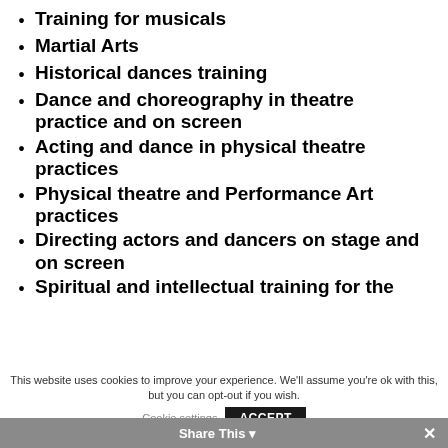Training for musicals
Martial Arts
Historical dances training
Dance and choreography in theatre practice and on screen
Acting and dance in physical theatre practices
Physical theatre and Performance Art practices
Directing actors and dancers on stage and on screen
Spiritual and intellectual training for the
This website uses cookies to improve your experience. We'll assume you're ok with this, but you can opt-out if you wish.
Cookie settings  ACCEPT
Share This  ✕